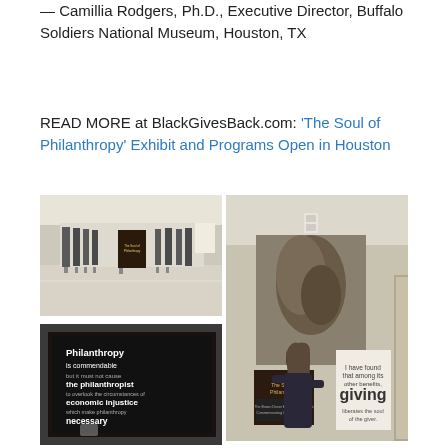— Camillia Rodgers, Ph.D., Executive Director, Buffalo Soldiers National Museum, Houston, TX
READ MORE at BlackGivesBack.com: 'The Soul of Philanthropy' Exhibit and Programs Open in Houston
[Figure (photo): Interior of museum exhibit hall with display panels on stands, showing The Soul of Philanthropy exhibit at Buffalo Soldiers National Museum]
[Figure (photo): Close-up of dark framed exhibit panel with white text quote: 'Philanthropy is commendable but it must not cause the philanthropist to overlook the circumstances of economic injustice which make philanthropy necessary']
[Figure (photo): Woman with long hair viewing The Soul of Philanthropy exhibit panels featuring a large artistic image and text panels including one reading 'giving']